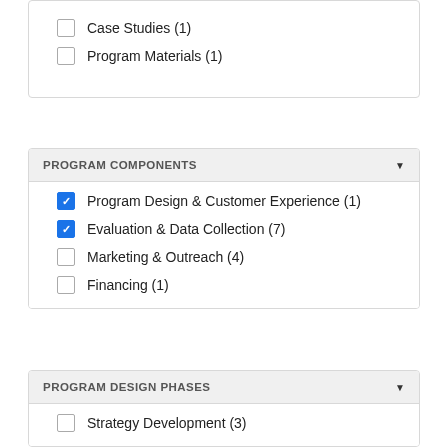Case Studies (1)
Program Materials (1)
PROGRAM COMPONENTS
Program Design & Customer Experience (1)
Evaluation & Data Collection (7)
Marketing & Outreach (4)
Financing (1)
PROGRAM DESIGN PHASES
Strategy Development (3)